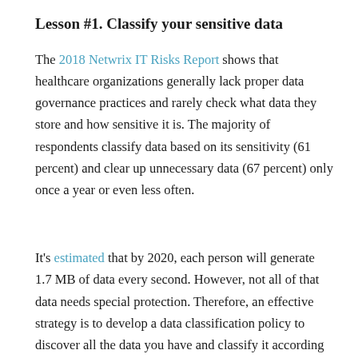Lesson #1. Classify your sensitive data
The 2018 Netwrix IT Risks Report shows that healthcare organizations generally lack proper data governance practices and rarely check what data they store and how sensitive it is. The majority of respondents classify data based on its sensitivity (61 percent) and clear up unnecessary data (67 percent) only once a year or even less often.
It's estimated that by 2020, each person will generate 1.7 MB of data every second. However, not all of that data needs special protection. Therefore, an effective strategy is to develop a data classification policy to discover all the data you have and classify it according to your organization's needs. That way, you can prioritize your